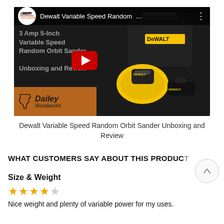[Figure (screenshot): YouTube video thumbnail for Dailey Woodworks showing Dewalt Variable Speed Random Orbit Sander Unboxing and Review. Dark overlay with play button, product image of DeWalt sander kit on right, and Dailey Woodworks branding on lower left.]
Dewalt Variable Speed Random Orbit Sander Unboxing and Review
WHAT CUSTOMERS SAY ABOUT THIS PRODUCT
Size & Weight
★★★★ (4 stars)
Nice weight and plenty of variable power for my uses.